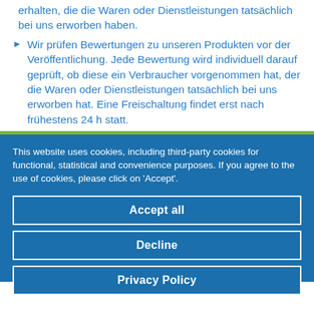erhalten, die die Waren oder Dienstleistungen tatsächlich bei uns erworben haben.
Wir prüfen Bewertungen zu unseren Produkten vor der Veröffentlichung. Jede Bewertung wird individuell darauf geprüft, ob diese ein Verbraucher vorgenommen hat, der die Waren oder Dienstleistungen tatsächlich bei uns erworben hat. Eine Freischaltung findet erst nach frühestens 24 h statt.
This website uses cookies, including third-party cookies for functional, statistical and convenience purposes. If you agree to the use of cookies, please click on 'Accept'.
Accept all
Decline
Privacy Policy